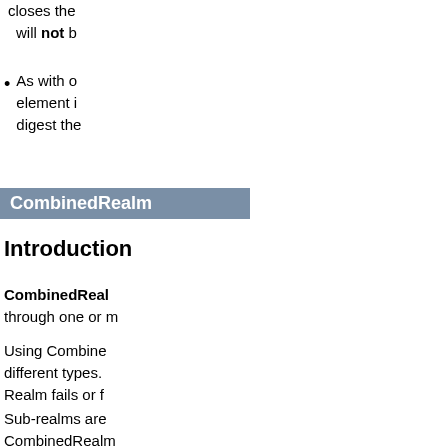...closes the element will not b...
As with o... element i... digest the...
CombinedRealm
Introduction
CombinedReal... through one or m...
Using Combine... different types. Realm fails or f...
Sub-realms are ... CombinedRealm... Authentication ...
Realm Eleme...
To configure a C... $CATALINA_BAS...